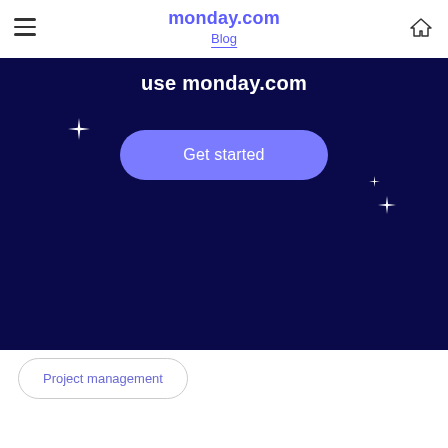monday.com Blog
[Figure (screenshot): Dark navy blue hero banner with text 'use monday.com', a purple 'Get started' button, and decorative sparkle/star elements on a dark background.]
Project management